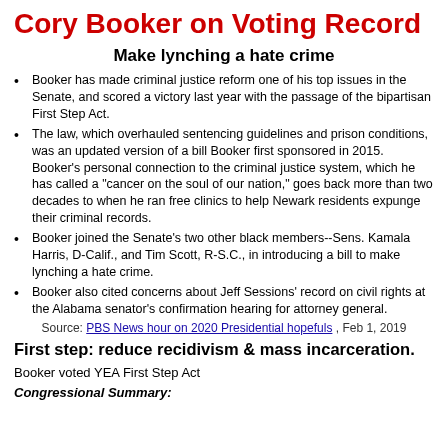Cory Booker on Voting Record
Make lynching a hate crime
Booker has made criminal justice reform one of his top issues in the Senate, and scored a victory last year with the passage of the bipartisan First Step Act.
The law, which overhauled sentencing guidelines and prison conditions, was an updated version of a bill Booker first sponsored in 2015. Booker's personal connection to the criminal justice system, which he has called a "cancer on the soul of our nation," goes back more than two decades to when he ran free clinics to help Newark residents expunge their criminal records.
Booker joined the Senate's two other black members--Sens. Kamala Harris, D-Calif., and Tim Scott, R-S.C., in introducing a bill to make lynching a hate crime.
Booker also cited concerns about Jeff Sessions' record on civil rights at the Alabama senator's confirmation hearing for attorney general.
Source: PBS News hour on 2020 Presidential hopefuls , Feb 1, 2019
First step: reduce recidivism & mass incarceration.
Booker voted YEA First Step Act
Congressional Summary: